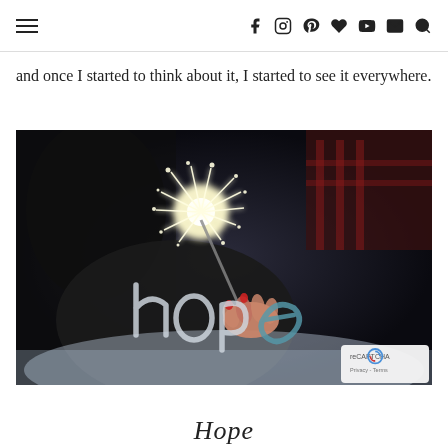Navigation header with hamburger menu and social icons: facebook, instagram, pinterest, heart/bloglovin, youtube, email, search
and once I started to think about it, I started to see it everywhere.
[Figure (photo): A hand holding a lit sparkler against a dark background with the word 'hope' overlaid in handwritten text]
Hope